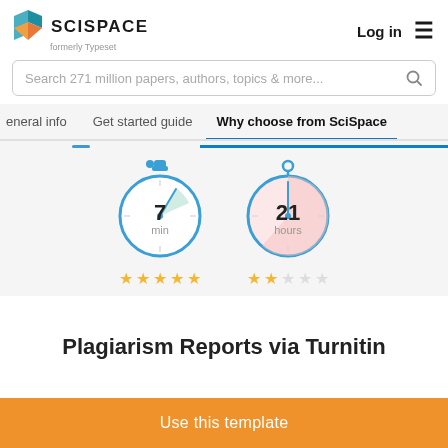[Figure (logo): SciSpace logo with colored book icon and text 'SCISPACE formerly Typeset']
Log in
[Figure (screenshot): Search bar with placeholder: Search 271 million papers, authors, topics & more...]
eneral info   Get started guide   Why choose from SciSpace
[Figure (infographic): Two timer/stopwatch icons: left shows 7 min with 5 gold stars, right shows 21 hours with 2 gold stars out of 5]
Plagiarism Reports via Turnitin
Use this template